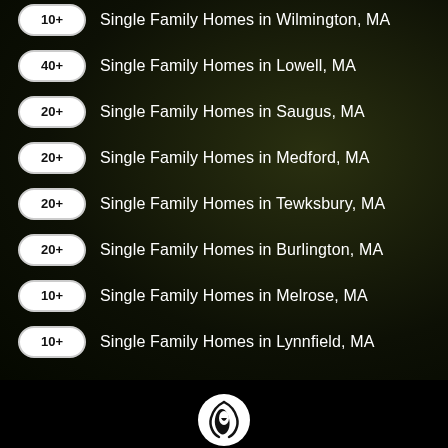10+ Single Family Homes in Wilmington, MA
40+ Single Family Homes in Lowell, MA
20+ Single Family Homes in Saugus, MA
20+ Single Family Homes in Medford, MA
20+ Single Family Homes in Tewksbury, MA
20+ Single Family Homes in Burlington, MA
10+ Single Family Homes in Melrose, MA
10+ Single Family Homes in Lynnfield, MA
[Figure (logo): White circular logo with stylized letter or bird graphic on black background]